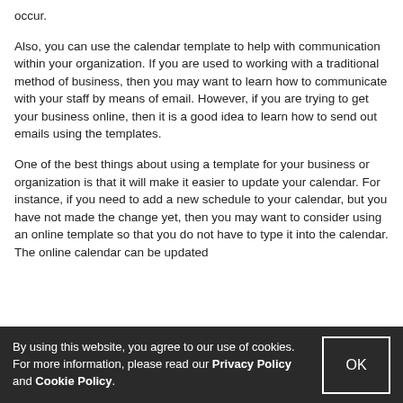occur.
Also, you can use the calendar template to help with communication within your organization. If you are used to working with a traditional method of business, then you may want to learn how to communicate with your staff by means of email. However, if you are trying to get your business online, then it is a good idea to learn how to send out emails using the templates.
One of the best things about using a template for your business or organization is that it will make it easier to update your calendar. For instance, if you need to add a new schedule to your calendar, but you have not made the change yet, then you may want to consider using an online template so that you do not have to type it into the calendar. The online calendar can be updated
By using this website, you agree to our use of cookies. For more information, please read our Privacy Policy and Cookie Policy.